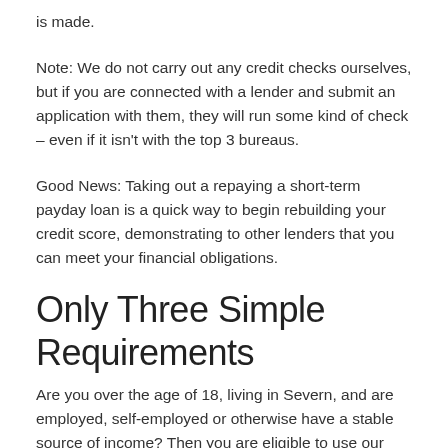is made.
Note: We do not carry out any credit checks ourselves, but if you are connected with a lender and submit an application with them, they will run some kind of check – even if it isn't with the top 3 bureaus.
Good News: Taking out a repaying a short-term payday loan is a quick way to begin rebuilding your credit score, demonstrating to other lenders that you can meet your financial obligations.
Only Three Simple Requirements
Are you over the age of 18, living in Severn, and are employed, self-employed or otherwise have a stable source of income? Then you are eligible to use our loan request service!